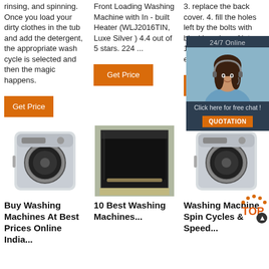rinsing, and spinning. Once you load your dirty clothes in the tub and add the detergent, the appropriate wash cycle is selected and then the magic happens.
Front Loading Washing Machine with In - built Heater (WLJ2016TIN, Luxe Silver ) 4.4 out of 5 stars. 224 ...
3. replace the back cover. 4. fill the holes left by the bolts with blanking plugs. Note: 1.when replacing cover, ensure convex s...
[Figure (other): 24/7 Online chat widget with woman customer service representative photo, 'Click here for free chat!' text, and QUOTATION button]
[Figure (photo): Silver front-loading washing machine product image]
[Figure (photo): Black oven/appliance in cardboard packaging on warehouse floor]
[Figure (photo): Silver front-loading washing machine product image]
Buy Washing Machines At Best Prices Online India...
10 Best Washing Machines...
Washing Machine Spin Cycles & Speed...